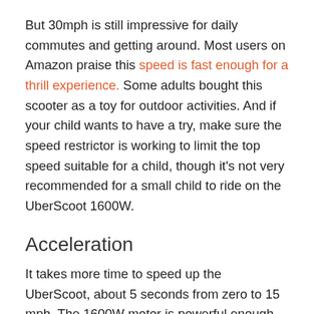But 30mph is still impressive for daily commutes and getting around. Most users on Amazon praise this speed is fast enough for a thrill experience. Some adults bought this scooter as a toy for outdoor activities. And if your child wants to have a try, make sure the speed restrictor is working to limit the top speed suitable for a child, though it's not very recommended for a small child to ride on the UberScoot 1600W.
Acceleration
It takes more time to speed up the UberScoot, about 5 seconds from zero to 15 mph. The 1600W motor is powerful enough